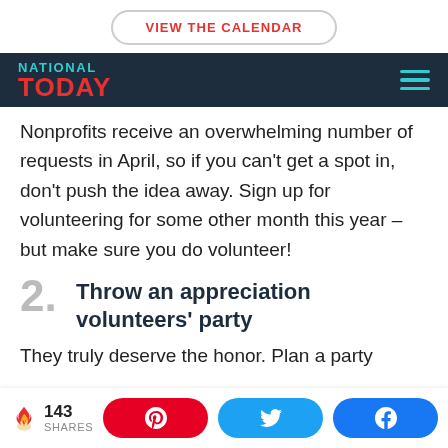VIEW THE CALENDAR
NATIONAL TODAY
Nonprofits receive an overwhelming number of requests in April, so if you can't get a spot in, don't push the idea away. Sign up for volunteering for some other month this year – but make sure you do volunteer!
2. Throw an appreciation volunteers' party
They truly deserve the honor. Plan a party
143 SHARES